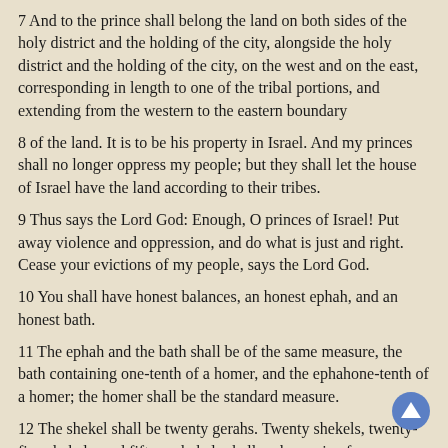7 And to the prince shall belong the land on both sides of the holy district and the holding of the city, alongside the holy district and the holding of the city, on the west and on the east, corresponding in length to one of the tribal portions, and extending from the western to the eastern boundary
8 of the land. It is to be his property in Israel. And my princes shall no longer oppress my people; but they shall let the house of Israel have the land according to their tribes.
9 Thus says the Lord God: Enough, O princes of Israel! Put away violence and oppression, and do what is just and right. Cease your evictions of my people, says the Lord God.
10 You shall have honest balances, an honest ephah, and an honest bath.
11 The ephah and the bath shall be of the same measure, the bath containing one-tenth of a homer, and the ephahone-tenth of a homer; the homer shall be the standard measure.
12 The shekel shall be twenty gerahs. Twenty shekels, twenty-five shekels, and fifteen shekels shall make a mina for you.
13 This is the offering that you shall make: one-sixth of an ephah from each homer of wheat, and one-sixth of an ephah from each